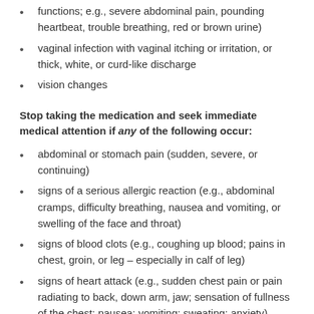functions; e.g., severe abdominal pain, pounding heartbeat, trouble breathing, red or brown urine)
vaginal infection with vaginal itching or irritation, or thick, white, or curd-like discharge
vision changes
Stop taking the medication and seek immediate medical attention if any of the following occur:
abdominal or stomach pain (sudden, severe, or continuing)
signs of a serious allergic reaction (e.g., abdominal cramps, difficulty breathing, nausea and vomiting, or swelling of the face and throat)
signs of blood clots (e.g., coughing up blood; pains in chest, groin, or leg – especially in calf of leg)
signs of heart attack (e.g., sudden chest pain or pain radiating to back, down arm, jaw; sensation of fullness of the chest; nausea; vomiting; sweating; anxiety)